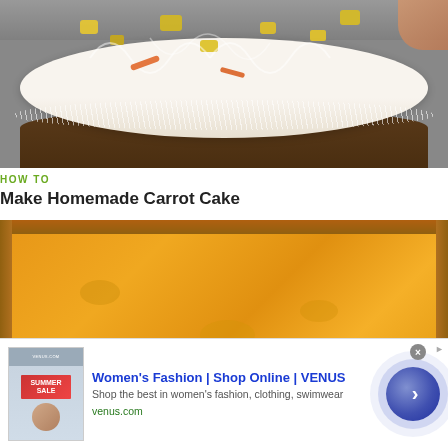[Figure (photo): Close-up photo of a homemade carrot cake topped with white cream cheese frosting, shredded coconut, and pineapple pieces]
HOW TO
Make Homemade Carrot Cake
[Figure (photo): Close-up photo of an orange/golden square cake or casserole in a dark baking pan, viewed from above]
Women's Fashion | Shop Online | VENUS
Shop the best in women's fashion, clothing, swimwear
venus.com